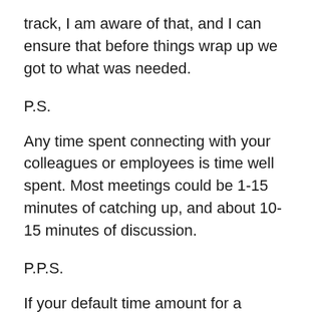track, I am aware of that, and I can ensure that before things wrap up we got to what was needed.
P.S.
Any time spent connecting with your colleagues or employees is time well spent. Most meetings could be 1-15 minutes of catching up, and about 10-15 minutes of discussion.
P.P.S.
If your default time amount for a meeting was 30 minutes instead of 60, how would that change things? What about 15 minutes?